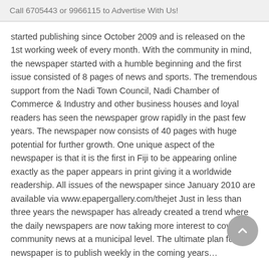Call 6705443 or 9966115 to Advertise With Us!
started publishing since October 2009 and is released on the 1st working week of every month. With the community in mind, the newspaper started with a humble beginning and the first issue consisted of 8 pages of news and sports. The tremendous support from the Nadi Town Council, Nadi Chamber of Commerce & Industry and other business houses and loyal readers has seen the newspaper grow rapidly in the past few years. The newspaper now consists of 40 pages with huge potential for further growth. One unique aspect of the newspaper is that it is the first in Fiji to be appearing online exactly as the paper appears in print giving it a worldwide readership. All issues of the newspaper since January 2010 are available via www.epapergallery.com/thejet Just in less than three years the newspaper has already created a trend where the daily newspapers are now taking more interest to cover community news at a municipal level. The ultimate plan for the newspaper is to publish weekly in the coming years…
Next Exciting Change...